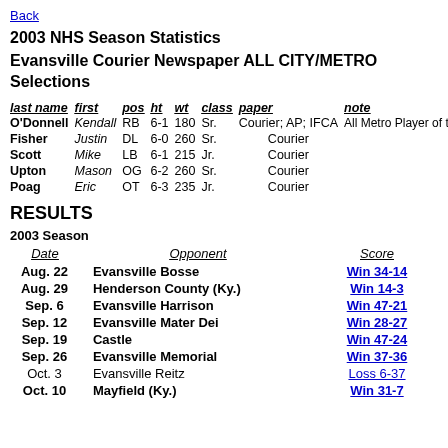Back
2003 NHS Season Statistics
Evansville Courier Newspaper ALL CITY/METRO Selections
| last name | first | pos | ht | wt | class | paper | note |
| --- | --- | --- | --- | --- | --- | --- | --- |
| O'Donnell | Kendall | RB | 6-1 | 180 | Sr. | Courier; AP; IFCA | All Metro Player of the Year |
| Fisher | Justin | DL | 6-0 | 260 | Sr. | Courier |  |
| Scott | Mike | LB | 6-1 | 215 | Jr. | Courier |  |
| Upton | Mason | OG | 6-2 | 260 | Sr. | Courier |  |
| Poag | Eric | OT | 6-3 | 235 | Jr. | Courier |  |
RESULTS
2003 Season
| Date | Opponent | Score |
| --- | --- | --- |
| Aug. 22 | Evansville Bosse | Win 34-14 |
| Aug. 29 | Henderson County (Ky.) | Win 14-3 |
| Sep. 6 | Evansville Harrison | Win 47-21 |
| Sep. 12 | Evansville Mater Dei | Win 28-27 |
| Sep. 19 | Castle | Win 47-24 |
| Sep. 26 | Evansville Memorial | Win 37-36 |
| Oct. 3 | Evansville Reitz | Loss 6-37 |
| Oct. 10 | Mayfield (Ky.) | Win 31-7 |